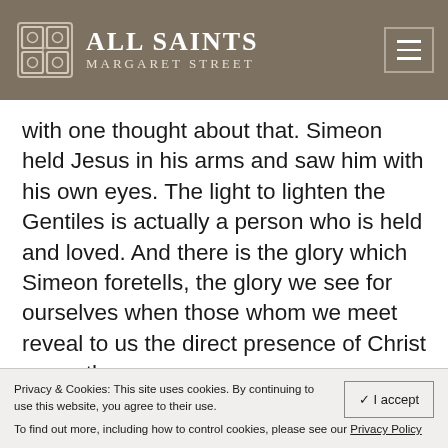ALL SAINTS MARGARET STREET
with one thought about that. Simeon held Jesus in his arms and saw him with his own eyes. The light to lighten the Gentiles is actually a person who is held and loved. And there is the glory which Simeon foretells, the glory we see for ourselves when those whom we meet reveal to us the direct presence of Christ on earth.
Privacy & Cookies: This site uses cookies. By continuing to use this website, you agree to their use.
To find out more, including how to control cookies, please see our Privacy Policy